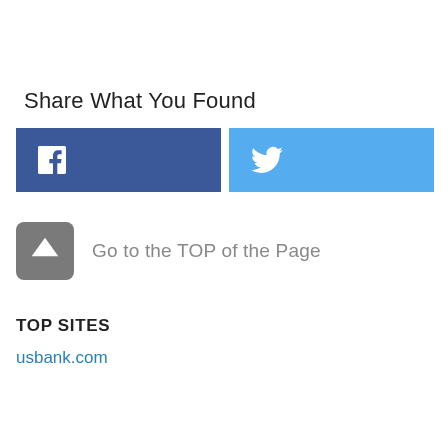Share What You Found
[Figure (infographic): Facebook share button (blue/dark) and Twitter share button (light blue) side by side]
[Figure (infographic): Dark grey rounded square icon with white upward arrow/caret, followed by text 'Go to the TOP of the Page']
TOP SITES
usbank.com